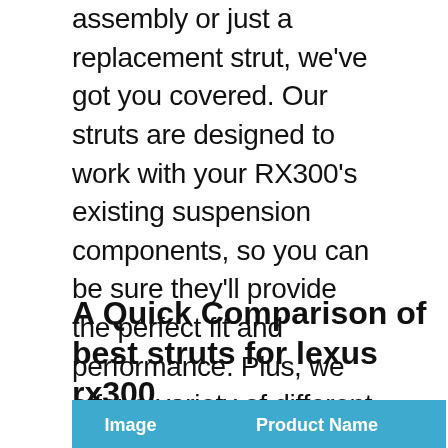assembly or just a replacement strut, we've got you covered. Our struts are designed to work with your RX300's existing suspension components, so you can be sure they'll provide the perfect fit and performance. Plus, we offer a variety of different strut types to choose from, so you can find the perfect match for your driving style and needs. So, whether you're looking for a complete strut assembly or just a replacement strut, shop with us for the best selection and quality!
A Quick Comparison of best struts for lexus rx300
| Image | Product Name |
| --- | --- |
|  | GOOACC 240PCS Bumper Retainer Clips Car Plastic Rivets Fasteners Push Retainer Kit Most Popular Sizes... |